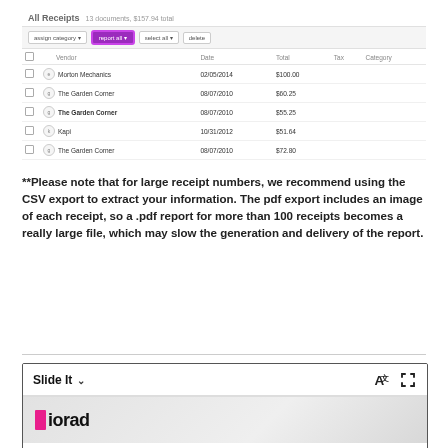[Figure (screenshot): Screenshot of 'All Receipts' page showing a list of receipts with columns: Vendor, Date, Total, Tax, Category. Toolbar shows 'report all' button highlighted in purple with a border. Five receipt rows are visible.]
**Please note that for large receipt numbers, we recommend using the CSV export to extract your information. The pdf export includes an image of each receipt, so a .pdf report for more than 100 receipts becomes a really large file, which may slow the generation and delivery of the report.
[Figure (screenshot): Bottom portion showing 'Slide It' dropdown header with translation and fullscreen icons, and below it a light gray content area showing the beginning of an iorad logo (pink square followed by 'iorad' text).]